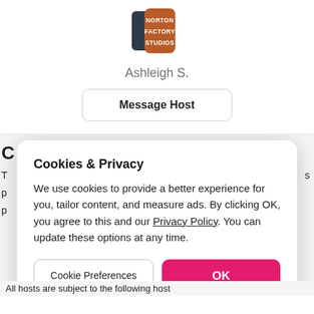[Figure (logo): Norton Factory Studios logo — dark navy and brown badge shape with white text reading NORTON FACTORY STUDIOS]
Ashleigh S.
Message Host
Cookies & Privacy
We use cookies to provide a better experience for you, tailor content, and measure ads. By clicking OK, you agree to this and our Privacy Policy. You can update these options at any time.
Cookie Preferences
OK